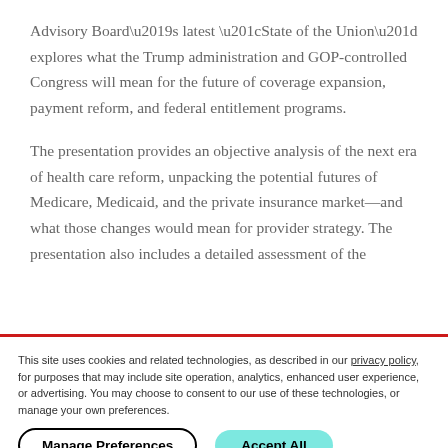Advisory Board's latest “State of the Union” explores what the Trump administration and GOP-controlled Congress will mean for the future of coverage expansion, payment reform, and federal entitlement programs.
The presentation provides an objective analysis of the next era of health care reform, unpacking the potential futures of Medicare, Medicaid, and the private insurance market—and what those changes would mean for provider strategy. The presentation also includes a detailed assessment of the
This site uses cookies and related technologies, as described in our privacy policy, for purposes that may include site operation, analytics, enhanced user experience, or advertising. You may choose to consent to our use of these technologies, or manage your own preferences.